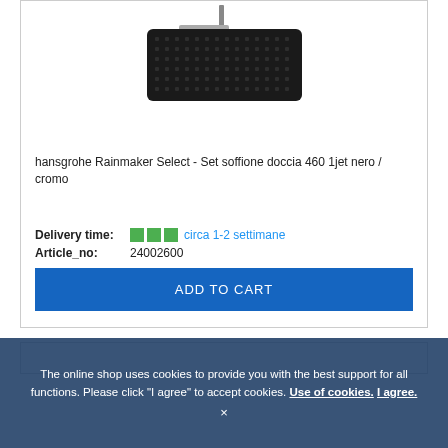[Figure (photo): Black square rain shower head / overhead shower fixture mounted from ceiling arm, viewed from below at angle]
hansgrohe Rainmaker Select - Set soffione doccia 460 1jet nero / cromo
Delivery time: ■■■ circa 1-2 settimane
Article_no: 24002600
ADD TO CART
The online shop uses cookies to provide you with the best support for all functions. Please click "I agree" to accept cookies. Use of cookies. I agree. ×